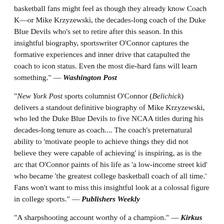basketball fans might feel as though they already know Coach K—or Mike Krzyzewski, the decades-long coach of the Duke Blue Devils who's set to retire after this season. In this insightful biography, sportswriter O'Connor captures the formative experiences and inner drive that catapulted the coach to icon status. Even the most die-hard fans will learn something." — Washington Post
"New York Post sports columnist O'Connor (Belichick) delivers a standout definitive biography of Mike Krzyzewski, who led the Duke Blue Devils to five NCAA titles during his decades-long tenure as coach.... The coach's preternatural ability to 'motivate people to achieve things they did not believe they were capable of achieving' is inspiring, as is the arc that O'Connor paints of his life as 'a low-income street kid' who became 'the greatest college basketball coach of all time.' Fans won't want to miss this insightful look at a colossal figure in college sports." — Publishers Weekly
"A sharpshooting account worthy of a champion." — Kirkus Reviews (starred review)
"O'Connor is a masterful biographer...No one does it better...An